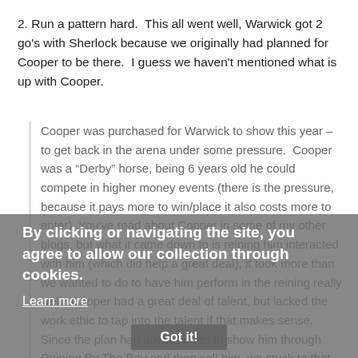2. Run a pattern hard.  This all went well, Warwick got 2 go's with Sherlock because we originally had planned for Cooper to be there.  I guess we haven't mentioned what is up with Cooper.
Cooper was purchased for Warwick to show this year – to get back in the arena under some pressure.  Cooper was a "Derby" horse, being 6 years old he could compete in higher money events (there is the pressure, because it pays more to win/place it also costs more to enter). You've read about Cooper in some of my other blogs, but what it came down to is [cookie overlay] reining [overlay] him interacted with him (which did help a great deal), it took more than we wanted to do to have him perform in the reining really well.  Cooper had a great deal of talent, but lacked the work ethic to tap into the talent if that makes sense.  Since the plan had always been to show him through Reining By The Bay and then sell him, we stuck to that
By clicking or navigating the site, you agree to allow our collection through cookies.
Learn more
Got it!